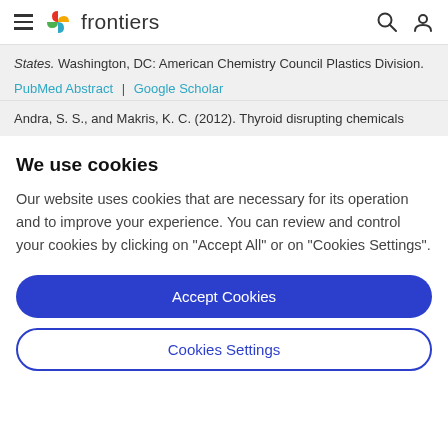frontiers
States. Washington, DC: American Chemistry Council Plastics Division.
PubMed Abstract | Google Scholar
Andra, S. S., and Makris, K. C. (2012). Thyroid disrupting chemicals
We use cookies
Our website uses cookies that are necessary for its operation and to improve your experience. You can review and control your cookies by clicking on "Accept All" or on "Cookies Settings".
Accept Cookies
Cookies Settings